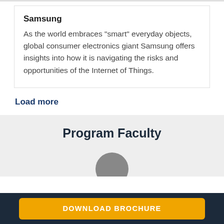Samsung
As the world embraces "smart" everyday objects, global consumer electronics giant Samsung offers insights into how it is navigating the risks and opportunities of the Internet of Things.
Load more
Program Faculty
[Figure (photo): Circular avatar placeholder image for a faculty member]
DOWNLOAD BROCHURE